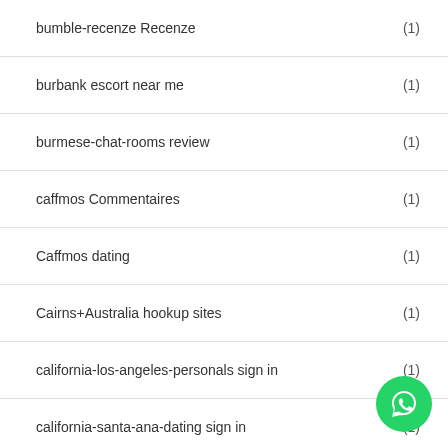bumble-recenze Recenze (1)
burbank escort near me (1)
burmese-chat-rooms review (1)
caffmos Commentaires (1)
Caffmos dating (1)
Cairns+Australia hookup sites (1)
california-los-angeles-personals sign in (1)
california-santa-ana-dating sign in (1)
california-stockton-dating review (1)
cambridge escort
canada-asian-dating review (1)
[Figure (illustration): WhatsApp contact button (green circle with phone handset icon)]